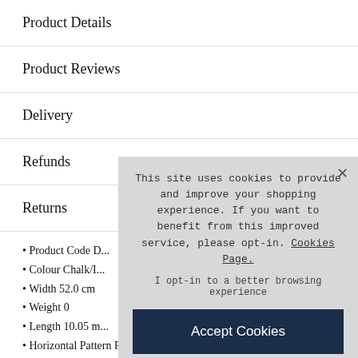Product Details
Product Reviews
Delivery
Refunds
Returns
Product Code [...]
Colour Chalk/[...]
Width 52.0 cm
Weight 0
Length 10.05 m
Horizontal Pattern Repeat 0.0 cm
This site uses cookies to provide and improve your shopping experience. If you want to benefit from this improved service, please opt-in. Cookies Page.
I opt-in to a better browsing experience
Accept Cookies